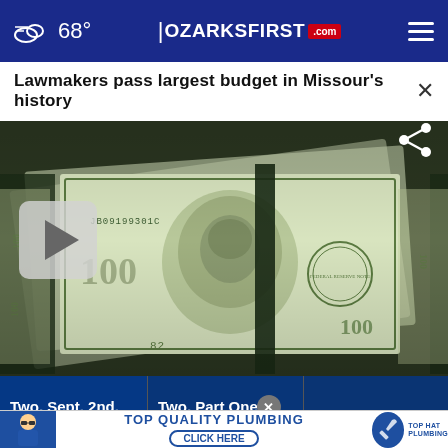68° | OZARKSFIRST.com
Lawmakers pass largest budget in Missour's history
[Figure (photo): Close-up photograph of stacked $100 US dollar bills showing Benjamin Franklin's portrait and serial number JB09199301C, with a video play button overlay in the lower left.]
Two, Sept. 2nd, Part 2
Two, Part One, Sept. 2
against Plains
TOP QUALITY PLUMBING — CLICK HERE | TOP HAT PLUMBING